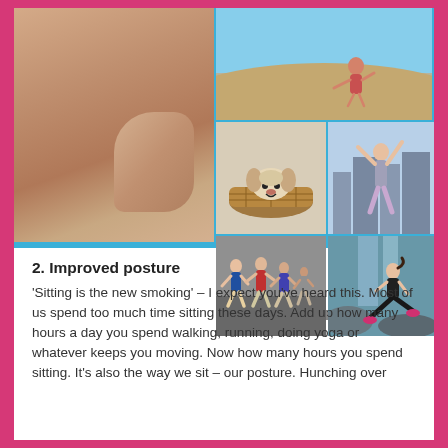[Figure (photo): Collage of health and fitness images: large image of a person's back/torso with a hand pressing on it (massage or back pain), alongside smaller images including a person doing yoga on a beach, a dog in a basket, a woman stretching in a city, runners in a marathon, and a woman doing a lunge by a waterfall. Background is light blue.]
2. Improved posture
'Sitting is the new smoking' – I expect you've heard this. Most of us spend too much time sitting these days. Add up how many hours a day you spend walking, running, doing yoga or whatever keeps you moving. Now how many hours you spend sitting. It's also the way we sit – our posture. Hunching over